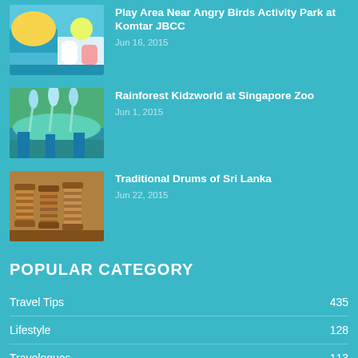[Figure (photo): Thumbnail of a colorful indoor play area with slides near Angry Birds Activity Park at Komtar JBCC]
Play Area Near Angry Birds Activity Park at Komtar JBCC
Jun 16, 2015
[Figure (photo): Thumbnail of Rainforest Kidzworld water play area at Singapore Zoo with fountains]
Rainforest Kidzworld at Singapore Zoo
Jun 1, 2015
[Figure (photo): Thumbnail of Traditional Drums of Sri Lanka on display]
Traditional Drums of Sri Lanka
Jun 22, 2015
POPULAR CATEGORY
Travel Tips   435
Lifestyle   128
Travelogues   113
Photography   76